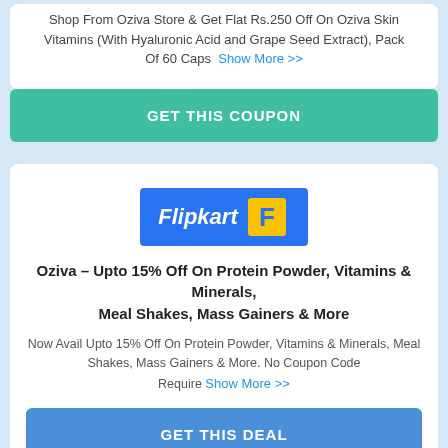Shop From Oziva Store & Get Flat Rs.250 Off On Oziva Skin Vitamins (With Hyaluronic Acid and Grape Seed Extract), Pack Of 60 Caps  Show More >>
GET THIS COUPON
[Figure (logo): Flipkart logo — blue rectangle with italic white 'Flipkart' text and yellow shopping bag icon]
Oziva – Upto 15% Off On Protein Powder, Vitamins & Minerals, Meal Shakes, Mass Gainers & More
Now Avail Upto 15% Off On Protein Powder, Vitamins & Minerals, Meal Shakes, Mass Gainers & More. No Coupon Code Require  Show More >>
GET THIS DEAL
[Figure (logo): Telegram logo — cyan circle with white paper plane icon]
[Figure (logo): amazon.in logo in black bold text with orange smile arrow underneath, inside a rounded rectangle border]